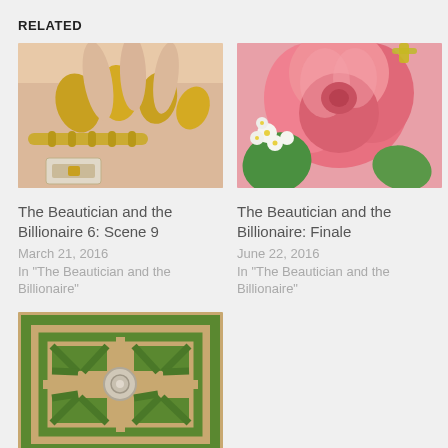RELATED
[Figure (photo): Close-up of gold metallic nail art on a hand with gold jewelry]
The Beautician and the Billionaire 6: Scene 9
March 21, 2016
In "The Beautician and the Billionaire"
[Figure (photo): Close-up of a pink rose with small white flowers]
The Beautician and the Billionaire: Finale
June 22, 2016
In "The Beautician and the Billionaire"
[Figure (photo): Aerial view of a geometric hedge maze garden with a circular center fountain]
The Beautician and the Billionaire Episode 7: Scene 2
March 30, 2016